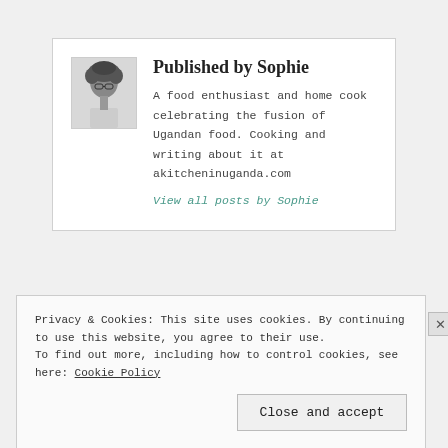[Figure (photo): Black and white portrait photo of Sophie, author]
Published by Sophie
A food enthusiast and home cook celebrating the fusion of Ugandan food. Cooking and writing about it at akitcheninuganda.com
View all posts by Sophie
Privacy & Cookies: This site uses cookies. By continuing to use this website, you agree to their use.
To find out more, including how to control cookies, see here: Cookie Policy
Close and accept